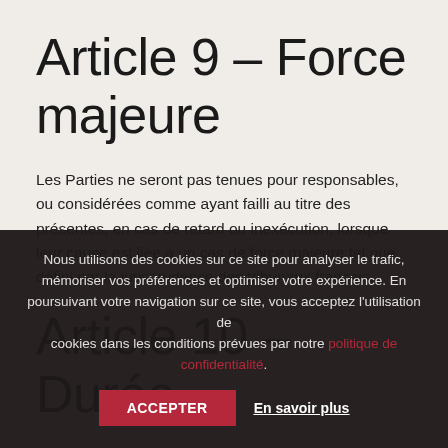Article 9 – Force majeure
Les Parties ne seront pas tenues pour responsables, ou considérées comme ayant failli au titre des présentes, en cas de retard ou inexécution, lorsque leur cause est liée à un cas de force majeure tel que défini par la jurisprudence des tribunaux français.
Article 10 – Durée
Nous utilisons des cookies sur ce site pour analyser le trafic, mémoriser vos préférences et optimiser votre expérience. En poursuivant votre navigation sur ce site, vous acceptez l'utilisation de cookies dans les conditions prévues par notre politique de confidentialité.